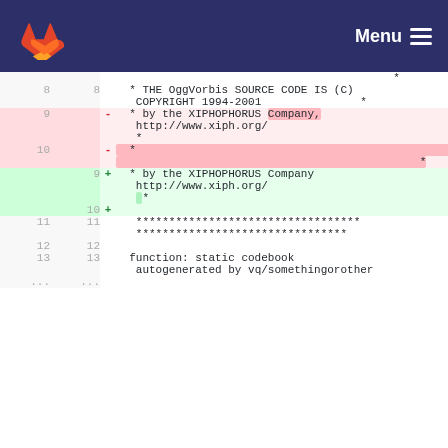GitLab — Menu
Diff view of OggVorbis source code file showing changes to copyright comment lines 8-13
| old | new | op | code |
| --- | --- | --- | --- |
|  |  |  | *  |
| 8 | 8 |  |   * THE OggVorbis SOURCE CODE IS (C) COPYRIGHT 1994-2001                * |
| 9 |  | - |   * by the XIPHOPHORUS Company, http://www.xiph.org/
   * |
| 10 |  | - |   *                                                                     * |
|  | 9 | + |   * by the XIPHOPHORUS Company http://www.xiph.org/
   * |
|  | 10 | + |  |
| 11 | 11 |  |    ************************************
   ******************************** |
| 12 | 12 |  |  |
| 13 | 13 |  |   function: static codebook autogenerated by vq/somethingorother |
| ... | ... |  |  |